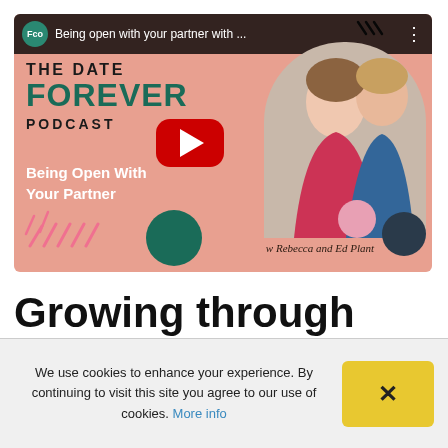[Figure (screenshot): YouTube video thumbnail for 'The Date Forever Podcast' episode titled 'Being Open With Your Partner' with Rebecca and Ed Plant. Shows couple photo, teal/salmon branding, YouTube play button, and channel name 'Being open with your partner with...' in top bar.]
Growing through
We use cookies to enhance your experience. By continuing to visit this site you agree to our use of cookies. More info